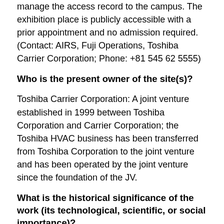manage the access record to the campus. The exhibition place is publicly accessible with a prior appointment and no admission required.    (Contact: AIRS, Fuji Operations, Toshiba Carrier Corporation; Phone: +81 545 62 5555)
Who is the present owner of the site(s)?
Toshiba Carrier Corporation: A joint venture established in 1999 between Toshiba Corporation and Carrier Corporation; the Toshiba HVAC business has been transferred from Toshiba Corporation to the joint venture and has been operated by the joint venture since the foundation of the JV.
What is the historical significance of the work (its technological, scientific, or social importance)?
The achievement is about the world first inverter split air conditioners developed and commercialized by Tokyo Shibaura Electric Co., Ltd. or Toshiba, as known as Toshiba Carrier Corporation today [2]. Toshiba